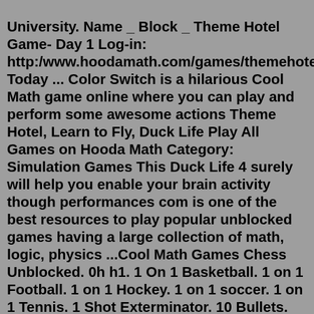University. Name _ Block _ Theme Hotel Game- Day 1 Log-in: http:/www.hoodamath.com/games/themehotel.html Today ... Color Switch is a hilarious Cool Math game online where you can play and perform some awesome actions Theme Hotel, Learn to Fly, Duck Life Play All Games on Hooda Math Category: Simulation Games This Duck Life 4 surely will help you enable your brain activity though performances com is one of the best resources to play popular unblocked games having a large collection of math, logic, physics ...Cool Math Games Chess Unblocked. 0h h1. 1 On 1 Basketball. 1 on 1 Football. 1 on 1 Hockey. 1 on 1 soccer. 1 on 1 Tennis. 1 Shot Exterminator. 10 Bullets. 10 More Bullets. ... Hotel 626. House of Dead Ninjas. House of Tards. House of Wolves. HOVER PIZZA CATS. HoverCraft Race. How to Raise a Dragon. How to Win at High School! HRMAGEDDON. HTML5 Games.Hooda math is a great app for kids it teaches you math and also let